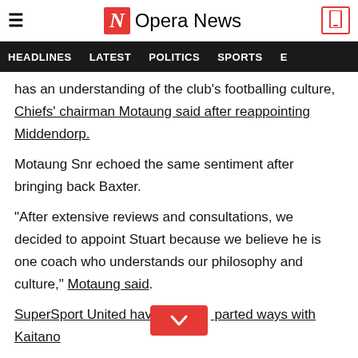Opera News
HEADLINES  LATEST  POLITICS  SPORTS
has an understanding of the club's footballing culture, Chiefs' chairman Motaung said after reappointing Middendorp.
Motaung Snr echoed the same sentiment after bringing back Baxter.
"After extensive reviews and consultations, we decided to appoint Stuart because we believe he is one coach who understands our philosophy and culture," Motaung said.
SuperSport United have recently parted ways with Kaitano